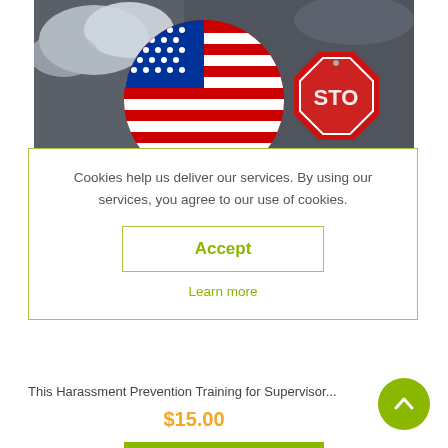[Figure (photo): Photo of an American flag stop sign shape and a red octagonal stop sign against a dark cloudy sky background]
Cookies help us deliver our services. By using our services, you agree to our use of cookies.
Accept
Learn more
This Harassment Prevention Training for Supervisor...
$15.00